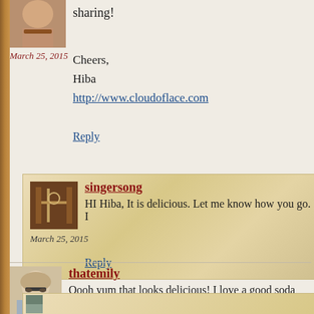[Figure (photo): User avatar thumbnail showing lower face]
sharing!
March 25, 2015
Cheers,
Hiba
http://www.cloudoflace.com
Reply
[Figure (photo): Singersong user avatar showing furniture/interior]
singersong
HI Hiba, It is delicious. Let me know how you go.
March 25, 2015
Reply
[Figure (photo): Thatemily user avatar showing woman with glasses]
thatemily
Oooh yum that looks delicious! I love a good soda brea
Reply
March 25, 2015